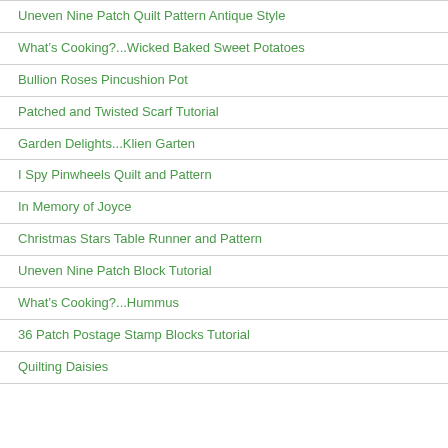Uneven Nine Patch Quilt Pattern Antique Style
What’s Cooking?...Wicked Baked Sweet Potatoes
Bullion Roses Pincushion Pot
Patched and Twisted Scarf Tutorial
Garden Delights...Klien Garten
I Spy Pinwheels Quilt and Pattern
In Memory of Joyce
Christmas Stars Table Runner and Pattern
Uneven Nine Patch Block Tutorial
What’s Cooking?...Hummus
36 Patch Postage Stamp Blocks Tutorial
Quilting Daisies